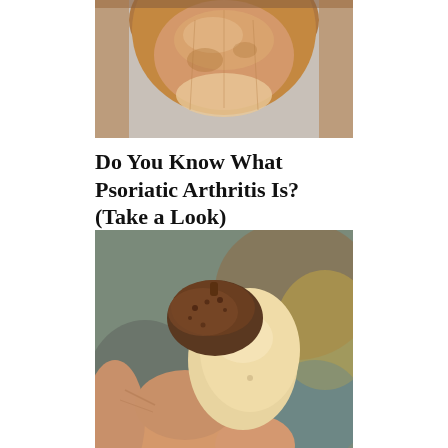[Figure (photo): Close-up photo of a toenail showing discoloration and nail changes, characteristic of psoriatic arthritis nail involvement. The nail appears thickened and brownish-orange.]
Do You Know What Psoriatic Arthritis Is? (Take a Look)
Psoriatic Arthritis | Sponsore
[Figure (photo): Photo of a hand holding an acorn partially removed from its cap, with a blurred background. The acorn appears smooth and light-colored while the cap is dark brown and fuzzy.]